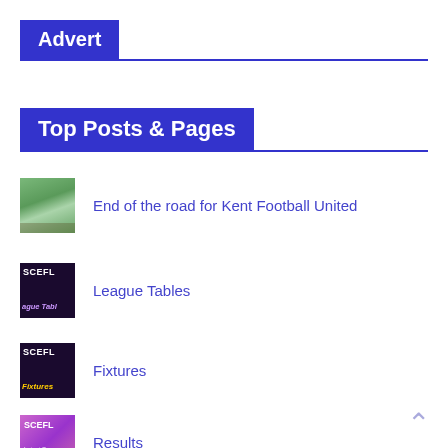Advert
Top Posts & Pages
End of the road for Kent Football United
League Tables
Fixtures
Results